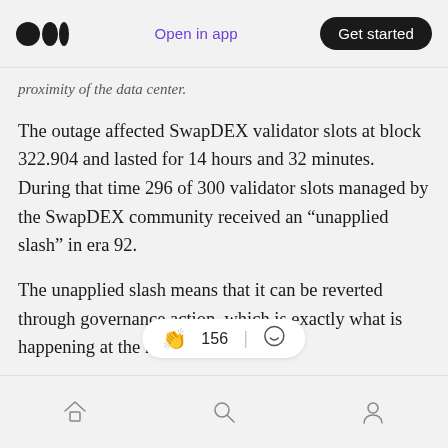Open in app | Get started
proximity of the data center.
The outage affected SwapDEX validator slots at block 322.904 and lasted for 14 hours and 32 minutes. During that time 296 of 300 validator slots managed by the SwapDEX community received an “unapplied slash” in era 92.
The unapplied slash means that it can be reverted through governance action, which is exactly what is happening at the moment.
Customer Impa
156 claps | comments | home | search | profile